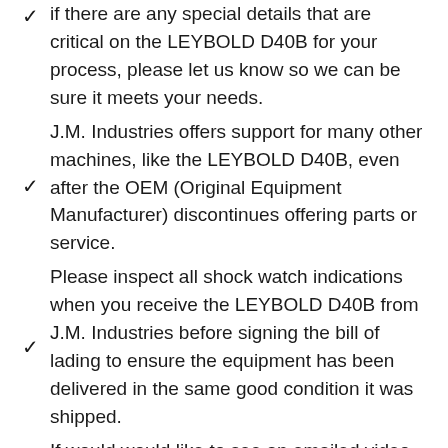if there are any special details that are critical on the LEYBOLD D40B for your process, please let us know so we can be sure it meets your needs.
J.M. Industries offers support for many other machines, like the LEYBOLD D40B, even after the OEM (Original Equipment Manufacturer) discontinues offering parts or service.
Please inspect all shock watch indications when you receive the LEYBOLD D40B from J.M. Industries before signing the bill of lading to ensure the equipment has been delivered in the same good condition it was shipped.
If would would like to see an emailed video of the LEYBOLD D40B you have purchased in operation prior to shipment, please let us know. Please note: We may need